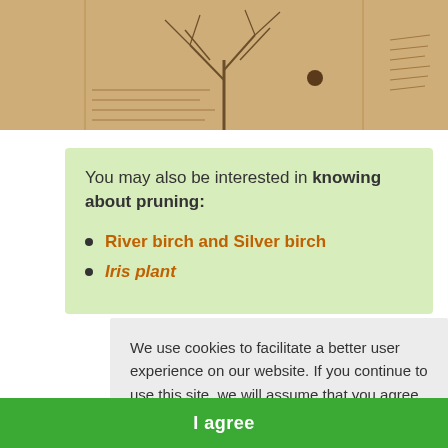[Figure (photo): A photograph of an open book or guide showing a tree diagram/illustration on beige/tan pages]
You may also be interested in knowing about pruning:
River birch and Silver birch
Iris plant
We use cookies to facilitate a better user experience on our website. If you continue to use this site, we will assume that you agree.
More information
I agree